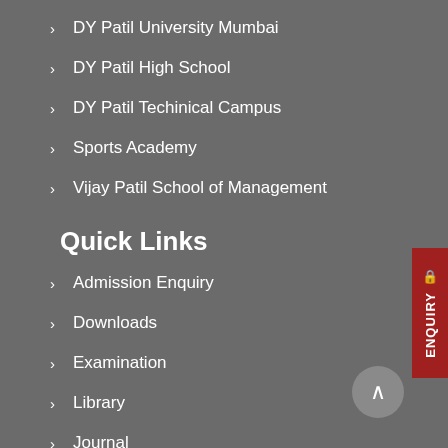DY Patil University Mumbai
DY Patil High School
DY Patil Techinical Campus
Sports Academy
Vijay Patil School of Management
Quick Links
Admission Enquiry
Downloads
Examination
Library
Journal
Other Links
Best Practices